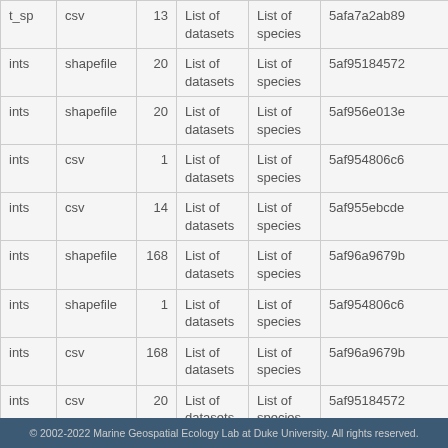| _sp | csv/shapefile | count | List of datasets | List of species | id |
| --- | --- | --- | --- | --- | --- |
| t_sp | csv | 13 | List of datasets | List of species | 5afa7a2ab89... |
| ints | shapefile | 20 | List of datasets | List of species | 5af95184572... |
| ints | shapefile | 20 | List of datasets | List of species | 5af956e013e... |
| ints | csv | 1 | List of datasets | List of species | 5af954806c6... |
| ints | csv | 14 | List of datasets | List of species | 5af955ebcde... |
| ints | shapefile | 168 | List of datasets | List of species | 5af96a9679b... |
| ints | shapefile | 1 | List of datasets | List of species | 5af954806c6... |
| ints | csv | 168 | List of datasets | List of species | 5af96a9679b... |
| ints | csv | 20 | List of datasets | List of species | 5af95184572... |
| ints | shapefile |  | List of | List of | 5af... |
© 2002-2022 Marine Geospatial Ecology Lab at Duke University. All rights reserved.